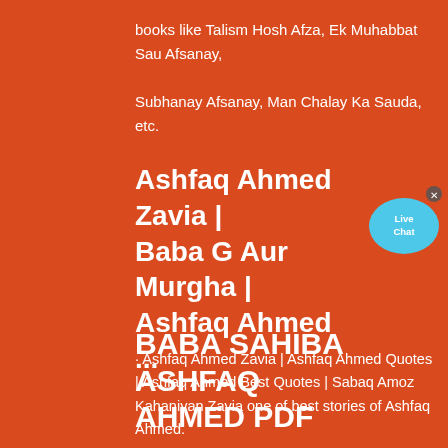books like Talism Hosh Afza, Ek Muhabbat Sau Afsanay, Subhanay Afsanay, Man Chalay Ka Sauda, etc.
Ashfaq Ahmed Zavia | Baba G Aur Murgha | Ashfaq Ahmed ...
[Figure (illustration): Live Chat button with speech bubble icon in cyan/blue color with an X close button]
· Ashfaq Ahmed Zavia | Ashfaq Ahmed Quotes | Ashfaq Ahmed Best Quotes | Sabaq Amoz Kahaniyan Zavia one of best stories of Ashfaq Ahmed.
BABA SAHIBA ASHFAQ AHMED PDF